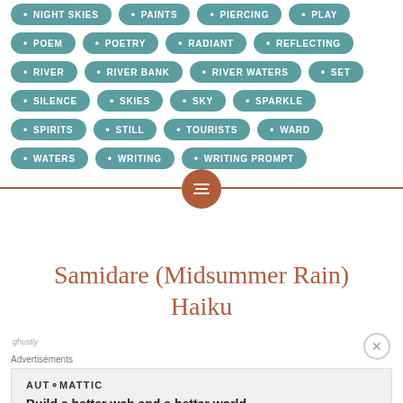NIGHT SKIES • PAINTS • PIERCING • PLAY
POEM • POETRY • RADIANT • REFLECTING
RIVER • RIVER BANK • RIVER WATERS • SET
SILENCE • SKIES • SKY • SPARKLE
SPIRITS • STILL • TOURISTS • WARD
WATERS • WRITING • WRITING PROMPT
Samidare (Midsummer Rain) Haiku
Advertisements
AUTOMATTIC
Build a better web and a better world.